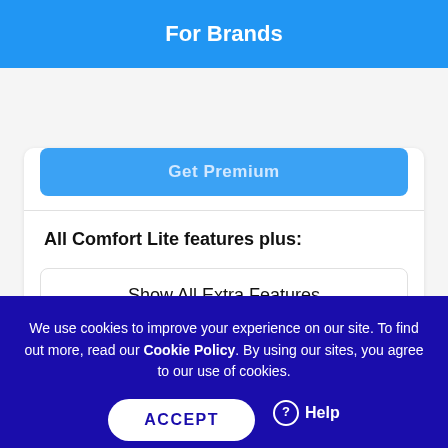For Brands
Get Premium
All Comfort Lite features plus:
Show All Extra Features
We use cookies to improve your experience on our site. To find out more, read our Cookie Policy. By using our sites, you agree to our use of cookies.
ACCEPT
Help